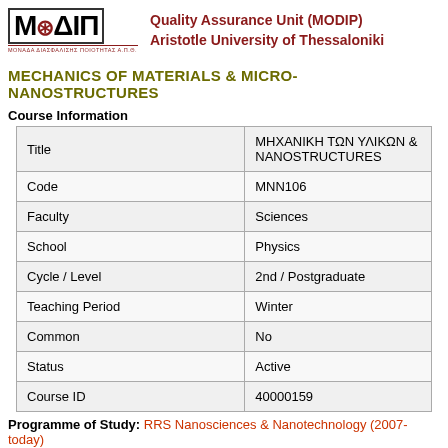Quality Assurance Unit (MODIP) Aristotle University of Thessaloniki
MECHANICS OF MATERIALS & MICRO-NANOSTRUCTURES
Course Information
|  |  |
| --- | --- |
| Title | ΜΗΧΑΝΙΚΗ ΤΩΝ ΥΛΙΚΩΝ & MICRO-NANOSTRUCTURES |
| Code | MNN106 |
| Faculty | Sciences |
| School | Physics |
| Cycle / Level | 2nd / Postgraduate |
| Teaching Period | Winter |
| Common | No |
| Status | Active |
| Course ID | 40000159 |
Programme of Study: RRS Nanosciences & Nanotechnology (2007-today)